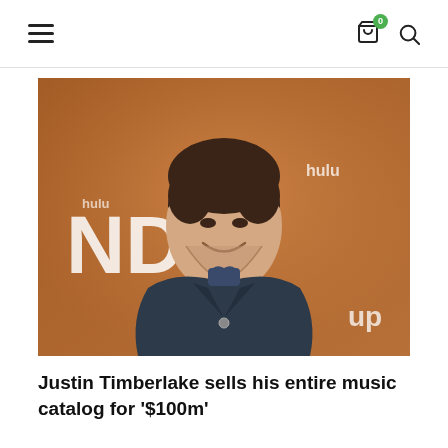Navigation header with hamburger menu, cart icon (badge: 0), and search icon
[Figure (photo): Photo of Justin Timberlake smiling in a dark navy suit with a patterned shirt collar, standing in front of an orange/brown event backdrop with partial text 'ND' and 'hulu' logos visible.]
Justin Timberlake sells his entire music catalog for '$100m'